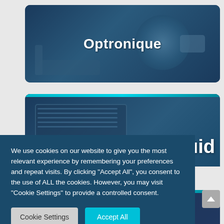[Figure (screenshot): Card with dark blue background showing optical/camera equipment and centered bold white text 'Optronique']
[Figure (screenshot): Partial card with dark blue background and laptop/screen imagery, showing partial white bold text 'fluid' (right portion only visible)]
We use cookies on our website to give you the most relevant experience by remembering your preferences and repeat visits. By clicking “Accept All”, you consent to the use of ALL the cookies. However, you may visit "Cookie Settings" to provide a controlled consent.
Cookie Settings
Accept All
[Figure (screenshot): Partial card with dark blue background showing partial bold white text 'Radiofrequency &']